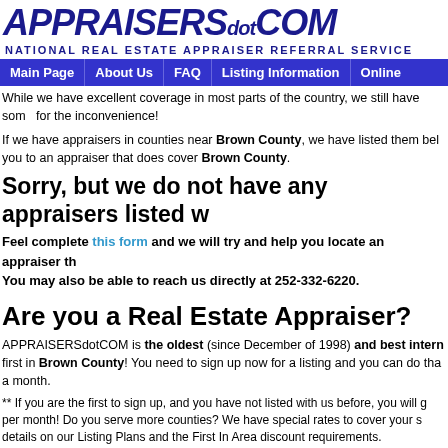APPRAISERSdotCOM — NATIONAL REAL ESTATE APPRAISER REFERRAL SERVICE
[Figure (logo): APPRAISERSdotCOM logo with italic bold text]
NATIONAL REAL ESTATE APPRAISER REFERRAL SERVICE
Main Page | About Us | FAQ | Listing Information | Online
While we have excellent coverage in most parts of the country, we still have some areas not yet covered. We apologize for the inconvenience!
If we have appraisers in counties near Brown County, we have listed them below. Otherwise, we may be able to refer you to an appraiser that does cover Brown County.
Sorry, but we do not have any appraisers listed w...
Feel complete this form and we will try and help you locate an appraiser th... You may also be able to reach us directly at 252-332-6220.
Are you a Real Estate Appraiser?
APPRAISERSdotCOM is the oldest (since December of 1998) and best intern... first in Brown County! You need to sign up now for a listing and you can do tha... a month.
** If you are the first to sign up, and you have not listed with us before, you will g... per month! Do you serve more counties? We have special rates to cover your s... details on our Listing Plans and the First In Area discount requirements.
Remember, we will list all appraisers in all counties, including Brown County...